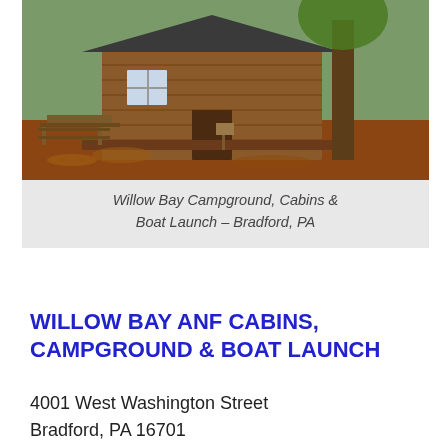[Figure (photo): Photo of a wooden cabin with a picnic table in front, surrounded by autumn leaves and trees.]
Willow Bay Campground, Cabins & Boat Launch – Bradford, PA
WILLOW BAY ANF CABINS, CAMPGROUND & BOAT LAUNCH
4001 West Washington Street
Bradford, PA 16701
814-366-2279
101 sites. Natural area with fishing, hiking, biking and boat launch. Site offers electric, showers, picnic area, and